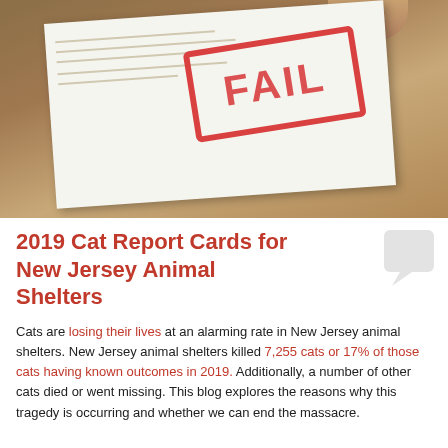[Figure (photo): Photo of a document on a wooden table with a red FAIL stamp overlaid on it, and a hand visible at the top right.]
2019 Cat Report Cards for New Jersey Animal Shelters
Cats are losing their lives at an alarming rate in New Jersey animal shelters. New Jersey animal shelters killed 7,255 cats or 17% of those cats having known outcomes in 2019. Additionally, a number of other cats died or went missing. This blog explores the reasons why this tragedy is occurring and whether we can end the massacre.
Model Assesses New Jersey Animal Shelters' Life Saving Performance
In order to assess how good of a job New Jersey animal